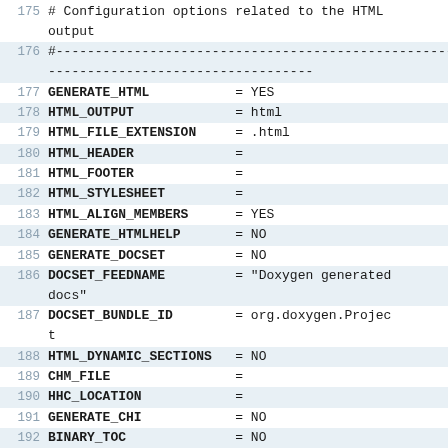175 # Configuration options related to the HTML output
176 #----------------------------------------------------------------------
177 GENERATE_HTML           = YES
178 HTML_OUTPUT              = html
179 HTML_FILE_EXTENSION      = .html
180 HTML_HEADER              =
181 HTML_FOOTER              =
182 HTML_STYLESHEET          =
183 HTML_ALIGN_MEMBERS       = YES
184 GENERATE_HTMLHELP        = NO
185 GENERATE_DOCSET          = NO
186 DOCSET_FEEDNAME          = "Doxygen generated docs"
187 DOCSET_BUNDLE_ID         = org.doxygen.Project
188 HTML_DYNAMIC_SECTIONS    = NO
189 CHM_FILE                 =
190 HHC_LOCATION             =
191 GENERATE_CHI             = NO
192 BINARY_TOC               = NO
193 TOC_EXPAND               = NO
194 DISABLE_INDEX            = NO